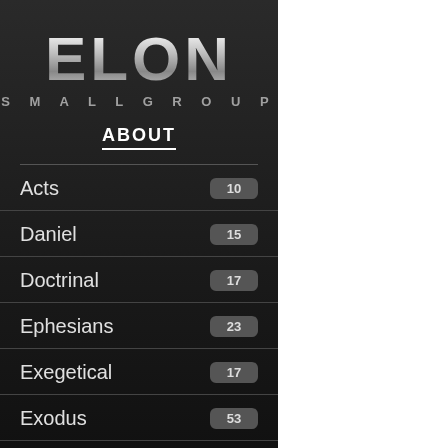ELON
SMALL GROUP
ABOUT
Acts 10
Daniel 15
Doctrinal 17
Ephesians 23
Exegetical 17
Exodus 53
THE
We come today to t… Let's review where
1) The first topic is churches in John's d… bad.  Some received